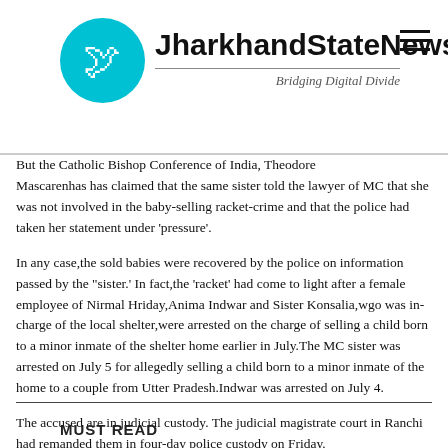[Figure (logo): JharkhandStateNews logo with circular cyan icon featuring a bird/map silhouette and bold site name text, tagline 'Bridging Digital Divide']
But the Catholic Bishop Conference of India, Theodore Mascarenhas has claimed that the same sister told the lawyer of MC that she was not involved in the baby-selling racket-crime and that the police had taken her statement under 'pressure'.
In any case,the sold babies were recovered by the police on information passed by the "sister.' In fact,the 'racket' had come to light after a female employee of Nirmal Hriday,Anima Indwar and Sister Konsalia,wgo was in-charge of the local shelter,were arrested on the charge of selling a child born to a minor inmate of the shelter home earlier in July.The MC sister was arrested on July 5 for allegedly selling a child born to a minor inmate of the home to a couple from Utter Pradesh.Indwar was arrested on July 4.
The accused are in judicial custody. The judicial magistrate court in Ranchi had remanded them in four-day police custody on Friday.
MUST READ